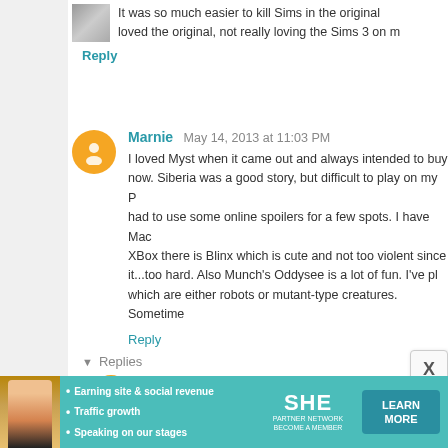It was so much easier to kill Sims in the original loved the original, not really loving the Sims 3 on m
Reply
Marnie  May 14, 2013 at 11:03 PM
I loved Myst when it came out and always intended to buy now. Siberia was a good story, but difficult to play on my P had to use some online spoilers for a few spots. I have Mac XBox there is Blinx which is cute and not too violent since it...too hard. Also Munch's Oddysee is a lot of fun. I've pl which are either robots or mutant-type creatures. Sometime
Reply
Replies
Aerinn  May 14, 2013 at 11:47 PM
The sequel to Myst was called Riven, and I might h back in the day...
[Figure (infographic): SHE Partner Network advertisement banner with woman photo, bullet points about earning site & social revenue, traffic growth, speaking on our stages, and a Learn More button]